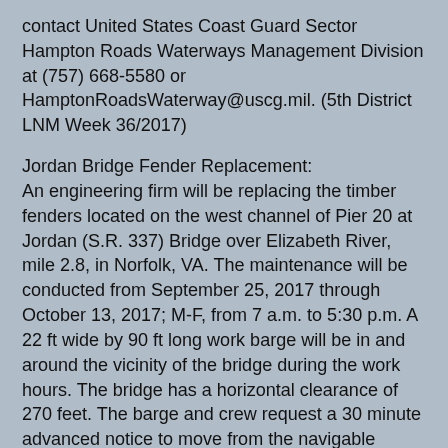contact United States Coast Guard Sector Hampton Roads Waterways Management Division at (757) 668-5580 or HamptonRoadsWaterway@uscg.mil. (5th District LNM Week 36/2017)
Jordan Bridge Fender Replacement:
An engineering firm will be replacing the timber fenders located on the west channel of Pier 20 at Jordan (S.R. 337) Bridge over Elizabeth River, mile 2.8, in Norfolk, VA. The maintenance will be conducted from September 25, 2017 through October 13, 2017; M-F, from 7 a.m. to 5:30 p.m. A 22 ft wide by 90 ft long work barge will be in and around the vicinity of the bridge during the work hours. The bridge has a horizontal clearance of 270 feet. The barge and crew request a 30 minute advanced notice to move from the navigable channel for vessels that need additional clearance to pass through the bridge. The Project Foreman can be reached at 757-558-3939 or VHF/FM CH 13. Mariners should use caution when transiting the area. (5th District LNM Week 37/2017)
I-64 High Rise Bridge AICW Maintenance: